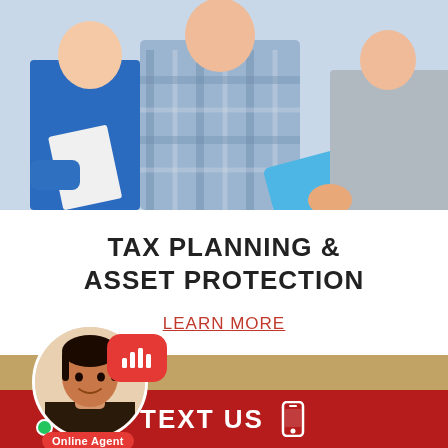[Figure (photo): Three people in a meeting — one in a blue plaid shirt holding documents, another in a blue top, and a third person in grey holding a blue tablet. Financial consultation scene.]
TAX PLANNING &
ASSET PROTECTION
LEARN MORE
[Figure (photo): Online Agent chat widget with female agent avatar, red speech bubble with bar chart icon, green online dot, and red 'Online Agent' badge.]
[Figure (photo): Partial bottom photo showing a wooden desk surface.]
TEXT US